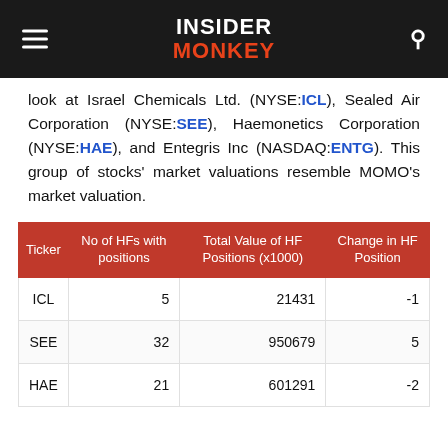INSIDER MONKEY
look at Israel Chemicals Ltd. (NYSE:ICL), Sealed Air Corporation (NYSE:SEE), Haemonetics Corporation (NYSE:HAE), and Entegris Inc (NASDAQ:ENTG). This group of stocks' market valuations resemble MOMO's market valuation.
| Ticker | No of HFs with positions | Total Value of HF Positions (x1000) | Change in HF Position |
| --- | --- | --- | --- |
| ICL | 5 | 21431 | -1 |
| SEE | 32 | 950679 | 5 |
| HAE | 21 | 601291 | -2 |